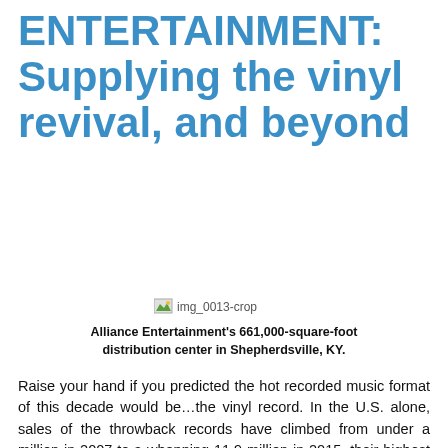ENTERTAINMENT: Supplying the vinyl revival, and beyond
[Figure (photo): Image placeholder: img_0013-crop — Alliance Entertainment's 661,000-square-foot distribution center in Shepherdsville, KY.]
Alliance Entertainment's 661,000-square-foot distribution center in Shepherdsville, KY.
Raise your hand if you predicted the hot recorded music format of this decade would be…the vinyl record. In the U.S. alone, sales of the throwback records have climbed from under a million in 2007 to a whopping 11.9 million in 2015, their highest total since 1988. Aside from the questions this raises about listening habits and technology, here's one more to consider: Who's providing all the records? For about 50% of vinyl record sales in the U.S., the answer, at some stage, is Alliance Entertainment. Based in Sunrise, Florida,